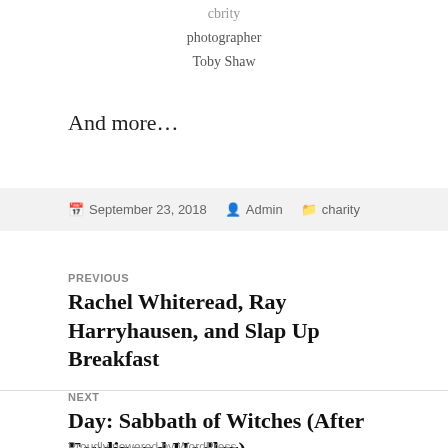cbrity
photographer
Toby Shaw
And more…
September 23, 2018  Admin  charity
PREVIOUS
Rachel Whiteread, Ray Harryhausen, and Slap Up Breakfast
NEXT
Day: Sabbath of Witches (After Ferdinand Hodler)
Proudly powered by WordPress